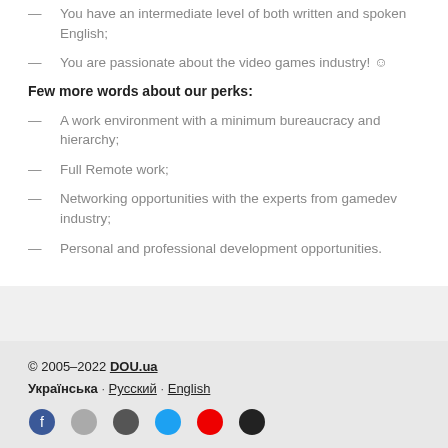You have an intermediate level of both written and spoken English;
You are passionate about the video games industry! 🙂
Few more words about our perks:
A work environment with a minimum bureaucracy and hierarchy;
Full Remote work;
Networking opportunities with the experts from gamedev industry;
Personal and professional development opportunities.
© 2005–2022 DOU.ua
Українська · Русский · English